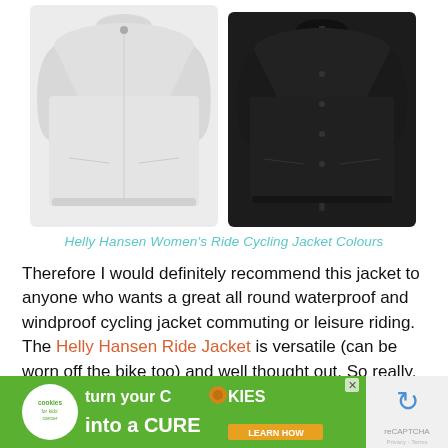[Figure (photo): Two Helly Hansen Women's Ride Cycling Jackets shown side by side - left jacket is light grey/white, right jacket is black]
Helly Hansen Women's Ride Cycling Jacket Colours
Therefore I would definitely recommend this jacket to anyone who wants a great all round waterproof and windproof cycling jacket commuting or leisure riding. The Helly Hansen Ride Jacket is versatile (can be worn off the bike too) and well thought out. So really, you can't go far wrong.
[Figure (screenshot): Advertisement banner: Cookies for Kids' Cancer - turn your COOKIES into a CURE LEARN HOW]